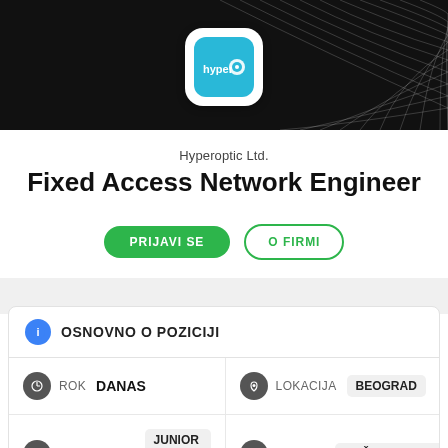[Figure (logo): Hyperoptic Ltd. logo on dark banner with wave lines]
Hyperoptic Ltd.
Fixed Access Network Engineer
PRIJAVI SE | O FIRMI
OSNOVNO O POZICIJI
| Field | Value |
| --- | --- |
| ROK | DANAS |
| LOKACIJA | BEOGRAD |
| SENIORITET | JUNIOR / MEDIOR |
| OBLAST | RAČUNARSTVO |